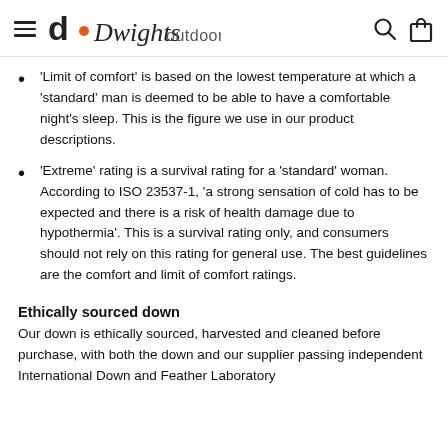Dwights outdoors
'Limit of comfort' is based on the lowest temperature at which a 'standard' man is deemed to be able to have a comfortable night's sleep. This is the figure we use in our product descriptions.
'Extreme' rating is a survival rating for a 'standard' woman. According to ISO 23537-1, 'a strong sensation of cold has to be expected and there is a risk of health damage due to hypothermia'. This is a survival rating only, and consumers should not rely on this rating for general use. The best guidelines are the comfort and limit of comfort ratings.
Ethically sourced down
Our down is ethically sourced, harvested and cleaned before purchase, with both the down and our supplier passing independent International Down and Feather Laboratory